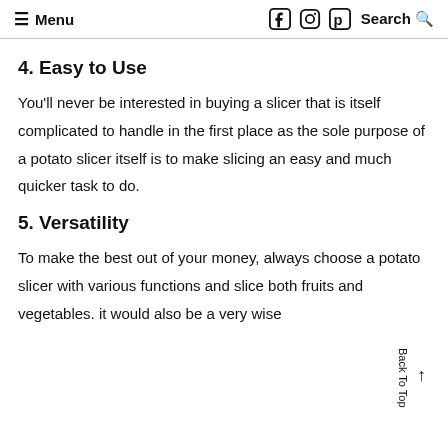≡ Menu   Search Q
4. Easy to Use
You'll never be interested in buying a slicer that is itself complicated to handle in the first place as the sole purpose of a potato slicer itself is to make slicing an easy and much quicker task to do.
5. Versatility
To make the best out of your money, always choose a potato slicer with various functions and slice both fruits and vegetables. it would also be a very wise